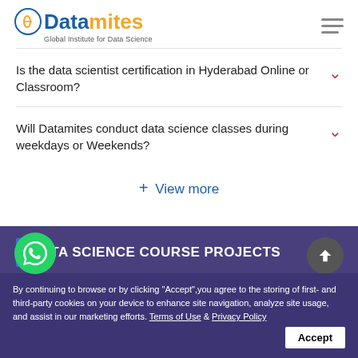[Figure (logo): Datamites logo — 'Data' in blue, 'mites' in orange, subtitle 'Global Institute for Data Science']
Is the data scientist certification in Hyderabad Online or Classroom?
Will Datamites conduct data science classes during weekdays or Weekends?
+ View more
DATA SCIENCE COURSE PROJECTS
By continuing to browse or by clicking "Accept",you agree to the storing of first- and third-party cookies on your device to enhance site navigation, analyze site usage, and assist in our marketing efforts. Terms of Use & Privacy Policy